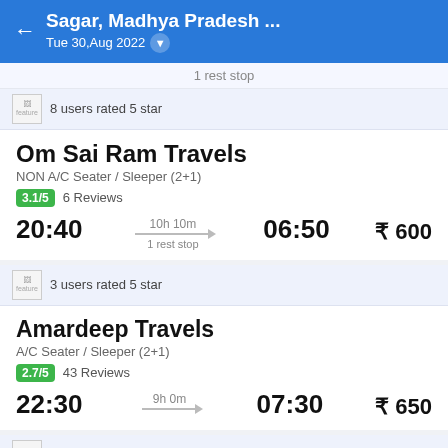Sagar, Madhya Pradesh ... | Tue 30,Aug 2022
1 rest stop
8 users rated 5 star
Om Sai Ram Travels
NON A/C Seater / Sleeper (2+1)
3.1/5  6 Reviews
20:40  10h 10m  06:50  1 rest stop  ₹ 600
3 users rated 5 star
Amardeep Travels
A/C Seater / Sleeper (2+1)
2.7/5  43 Reviews
22:30  9h 0m  07:30  ₹ 650
Live Tracking